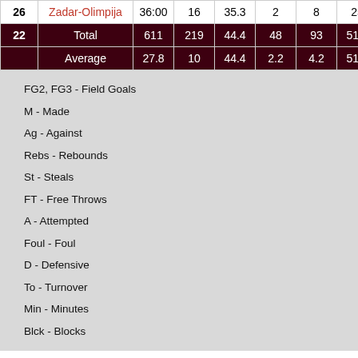| # | Name | Min | FG2M | FG2% | FG3M | FG3A | FG3% | FTM | ... |
| --- | --- | --- | --- | --- | --- | --- | --- | --- | --- |
| 26 | Zadar-Olimpija | 36:00 | 16 | 35.3 | 2 | 8 | 25 | 4 | 9... |
| 22 | Total | 611 | 219 | 44.4 | 48 | 93 | 51.6 | 35 | 9... |
|  | Average | 27.8 | 10 | 44.4 | 2.2 | 4.2 | 51.6 | 1.6 | 4.... |
FG2, FG3 - Field Goals
M - Made
Ag - Against
Rebs - Rebounds
St - Steals
FT - Free Throws
A - Attempted
Foul - Foul
D - Defensive
To - Turnover
Min - Minutes
Blck - Blocks